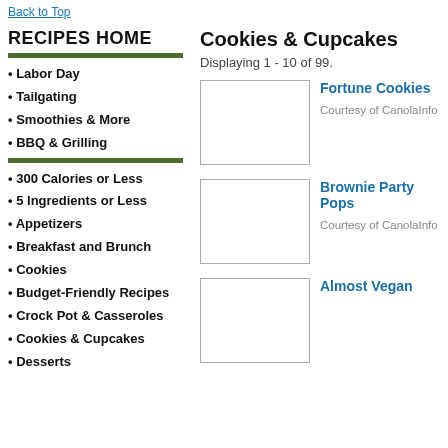Back to Top
RECIPES HOME
Labor Day
Tailgating
Smoothies & More
BBQ & Grilling
300 Calories or Less
5 Ingredients or Less
Appetizers
Breakfast and Brunch
Cookies
Budget-Friendly Recipes
Crock Pot & Casseroles
Cookies & Cupcakes
Desserts
Cookies & Cupcakes
Displaying 1 - 10 of 99.
[Figure (photo): Image placeholder for Fortune Cookies recipe]
Fortune Cookies
Courtesy of CanolaInfo
[Figure (photo): Image placeholder for Brownie Party Pops recipe]
Brownie Party Pops
Courtesy of CanolaInfo
[Figure (photo): Image placeholder for Almost Vegan recipe]
Almost Vegan